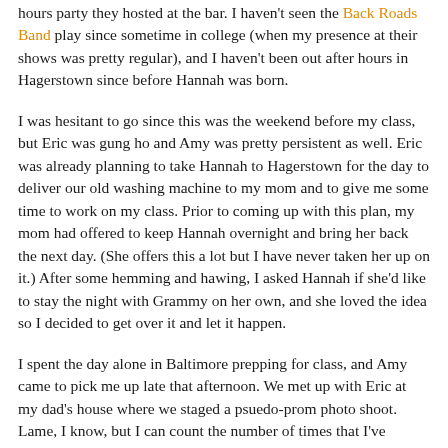hours party they hosted at the bar. I haven't seen the Back Roads Band play since sometime in college (when my presence at their shows was pretty regular), and I haven't been out after hours in Hagerstown since before Hannah was born.
I was hesitant to go since this was the weekend before my class, but Eric was gung ho and Amy was pretty persistent as well. Eric was already planning to take Hannah to Hagerstown for the day to deliver our old washing machine to my mom and to give me some time to work on my class. Prior to coming up with this plan, my mom had offered to keep Hannah overnight and bring her back the next day. (She offers this a lot but I have never taken her up on it.) After some hemming and hawing, I asked Hannah if she'd like to stay the night with Grammy on her own, and she loved the idea so I decided to get over it and let it happen.
I spent the day alone in Baltimore prepping for class, and Amy came to pick me up late that afternoon. We met up with Eric at my dad's house where we staged a psuedo-prom photo shoot. Lame, I know, but I can count the number of times that I've dressed up on a nice night and done...